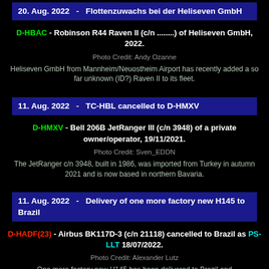20. Aug. 2022   -   Flottenzuwachs bei der Heliseven GmbH
D-HBAC - Robinson R44 Raven II (c/n ........) of Heliseven GmbH, 2022.
Photo Credit: Andy Ozanne
Heliseven GmbH from Mannheim/Neuostheim Airport has recently added a so far unknown (ID?) Raven II to its fleet.
11. Aug. 2022   -   TC-HBL cancelled to D-HMXV
D-HMXV - Bell 206B JetRanger III (c/n 3948) of a private owner/operator, 19/11/2021.
Photo Credit: Sven_EDDN
The JetRanger c/n 3948, built in 1986, was imported from Turkey in autumn 2021 and is now based in northern Bavaria.
11. Aug. 2022   -   Delivery of one more factory new H145 to Brazil
D-HADF(23) - Airbus BK117D-3 (c/n 21118) cancelled to Brazil as PS-LLT 18/07/2022.
Photo Credit: Alexander Lutz
One more factory new H145 has been delivered to Brazil and